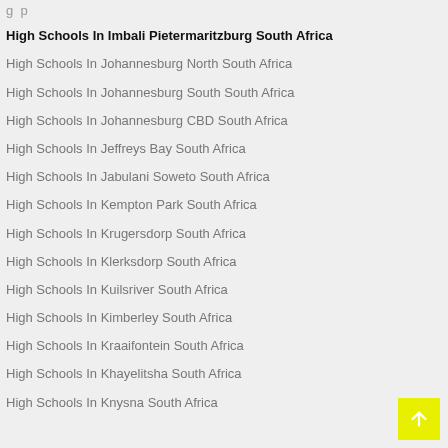High Schools In Imbali Pietermaritzburg South Africa
High Schools In Johannesburg North South Africa
High Schools In Johannesburg South South Africa
High Schools In Johannesburg CBD South Africa
High Schools In Jeffreys Bay South Africa
High Schools In Jabulani Soweto South Africa
High Schools In Kempton Park South Africa
High Schools In Krugersdorp South Africa
High Schools In Klerksdorp South Africa
High Schools In Kuilsriver South Africa
High Schools In Kimberley South Africa
High Schools In Kraaifontein South Africa
High Schools In Khayelitsha South Africa
High Schools In Knysna South Africa